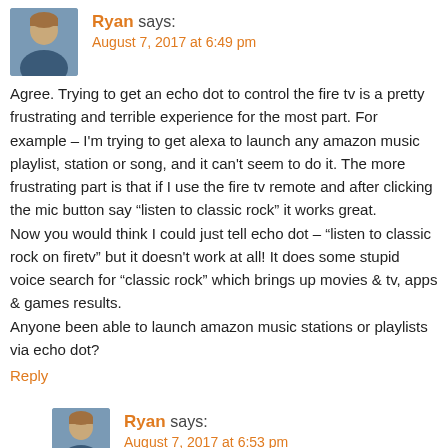[Figure (photo): Avatar photo of user Ryan, a man with short hair]
Ryan says:
August 7, 2017 at 6:49 pm
Agree. Trying to get an echo dot to control the fire tv is a pretty frustrating and terrible experience for the most part. For example – I'm trying to get alexa to launch any amazon music playlist, station or song, and it can't seem to do it. The more frustrating part is that if I use the fire tv remote and after clicking the mic button say “listen to classic rock” it works great.
Now you would think I could just tell echo dot – “listen to classic rock on firetv” but it doesn't work at all! It does some stupid voice search for “classic rock” which brings up movies & tv, apps & games results.
Anyone been able to launch amazon music stations or playlists via echo dot?
Reply
[Figure (photo): Avatar photo of user Ryan, a man with short hair (smaller, nested comment)]
Ryan says:
August 7, 2017 at 6:53 pm
Actually just figured out that if I say get super specific